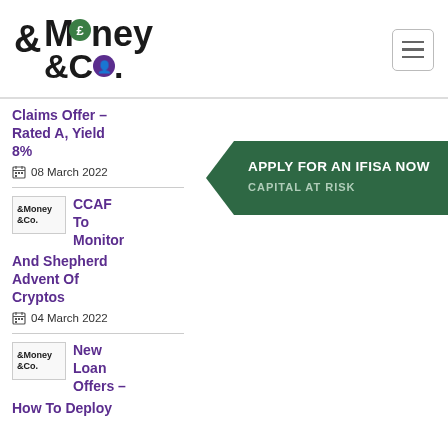[Figure (logo): Money & Co. logo with pound sign circle and person icon circle]
Claims Offer – Rated A, Yield 8%
08 March 2022
[Figure (logo): Money & Co. thumbnail logo]
CCAF To Monitor And Shepherd Advent Of Cryptos
04 March 2022
[Figure (infographic): Green arrow banner: APPLY FOR AN IFISA NOW / CAPITAL AT RISK]
[Figure (logo): Money & Co. thumbnail logo]
New Loan Offers – How To Deploy